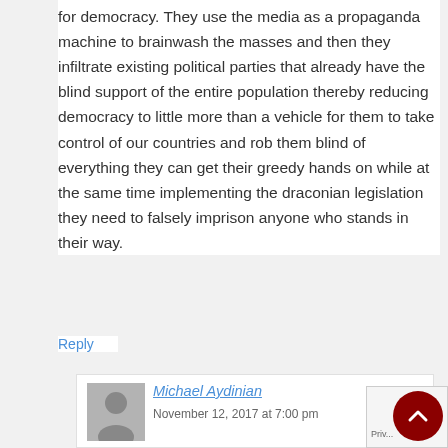for democracy. They use the media as a propaganda machine to brainwash the masses and then they infiltrate existing political parties that already have the blind support of the entire population thereby reducing democracy to little more than a vehicle for them to take control of our countries and rob them blind of everything they can get their greedy hands on while at the same time implementing the draconian legislation they need to falsely imprison anyone who stands in their way.
Reply
Michael Aydinian
November 12, 2017 at 7:00 pm